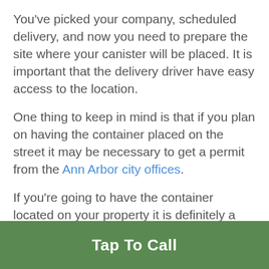You've picked your company, scheduled delivery, and now you need to prepare the site where your canister will be placed. It is important that the delivery driver have easy access to the location.
One thing to keep in mind is that if you plan on having the container placed on the street it may be necessary to get a permit from the Ann Arbor city offices.
If you're going to have the container located on your property it is definitely a good idea to not have it placed on any soft ground or grassy areas. As the canisters are quite heavy and can do significant damage if not properly supported.
Even if you are having the canister placed on your
Tap To Call